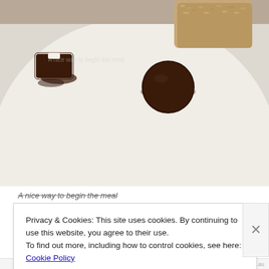[Figure (photo): Close-up photo of a white plate with chocolate dessert elements: a small chocolate piece with cream filling, a round chocolate disc, and a breaded/crumbed item at the top, on a light beige/cream plate surface.]
A nice way to begin the meal
Privacy & Cookies: This site uses cookies. By continuing to use this website, you agree to their use.
To find out more, including how to control cookies, see here: Cookie Policy